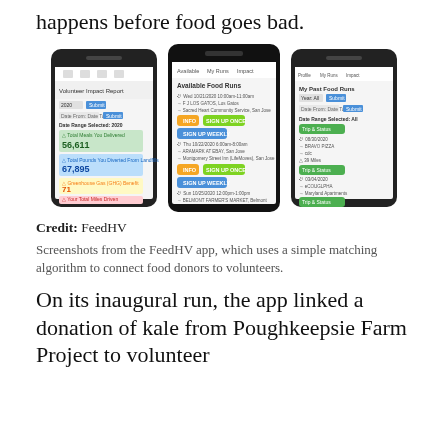happens before food goes bad.
[Figure (screenshot): Three smartphone screenshots of the FeedHV app showing volunteer impact report, available food runs with sign-up buttons, and past food runs history.]
Credit: FeedHV
Screenshots from the FeedHV app, which uses a simple matching algorithm to connect food donors to volunteers.
On its inaugural run, the app linked a donation of kale from Poughkeepsie Farm Project to volunteer